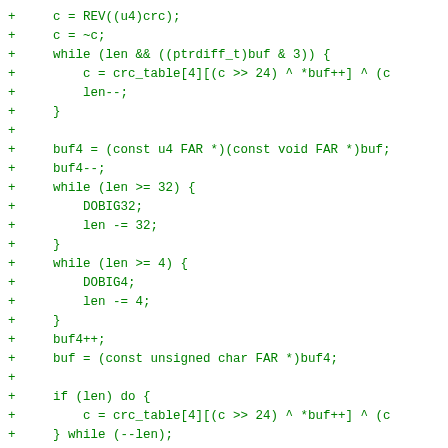+     c = REV((u4)crc);
+     c = ~c;
+     while (len && ((ptrdiff_t)buf & 3)) {
+         c = crc_table[4][(c >> 24) ^ *buf++] ^ (c
+         len--;
+     }
+
+     buf4 = (const u4 FAR *)(const void FAR *)buf;
+     buf4--;
+     while (len >= 32) {
+         DOBIG32;
+         len -= 32;
+     }
+     while (len >= 4) {
+         DOBIG4;
+         len -= 4;
+     }
+     buf4++;
+     buf = (const unsigned char FAR *)buf4;
+
+     if (len) do {
+         c = crc_table[4][(c >> 24) ^ *buf++] ^ (c
+     } while (--len);
+     c = ~c;
+     return (unsigned long)(REV(c));
+}
+
+#endif /* BYFOUR */
+
+#define GE2_DIM 32    /* dimension of GE(2) vect